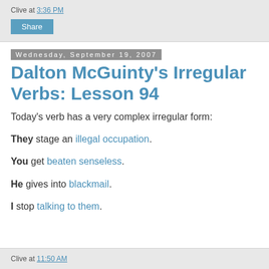Clive at 3:36 PM
Share
Wednesday, September 19, 2007
Dalton McGuinty's Irregular Verbs: Lesson 94
Today's verb has a very complex irregular form:
They stage an illegal occupation.
You get beaten senseless.
He gives into blackmail.
I stop talking to them.
Clive at 11:50 AM